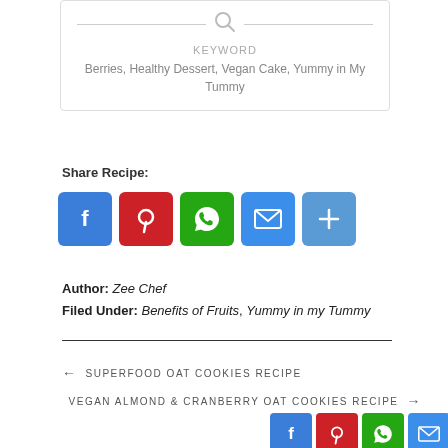KEYWORD
Berries, Healthy Dessert, Vegan Cake, Yummy in My Tummy
Share Recipe:
[Figure (other): Social share buttons: Facebook, Pinterest, WhatsApp, Email, Share]
Author: Zee Chef
Filed Under: Benefits of Fruits, Yummy in my Tummy
← SUPERFOOD OAT COOKIES RECIPE
VEGAN ALMOND & CRANBERRY OAT COOKIES RECIPE →
[Figure (other): Bottom social share bar: Facebook, Pinterest, WhatsApp, Email, Share]